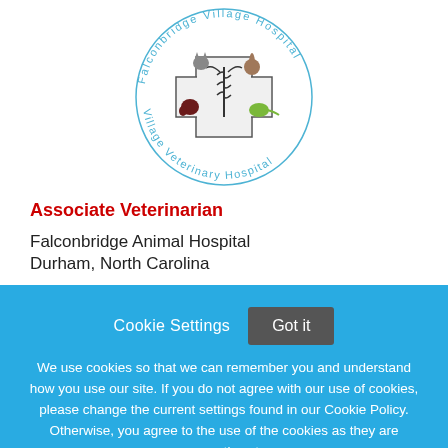[Figure (logo): Falconbridge Village Veterinary Hospital circular logo with puzzle piece cross and animal illustrations (cat, dog, rabbit, reptile)]
Associate Veterinarian
Falconbridge Animal Hospital
Durham, North Carolina
Cookie Settings  Got it
We use cookies so that we can remember you and understand how you use our site. If you do not agree with our use of cookies, please change the current settings found in our Cookie Policy. Otherwise, you agree to the use of the cookies as they are currently set.